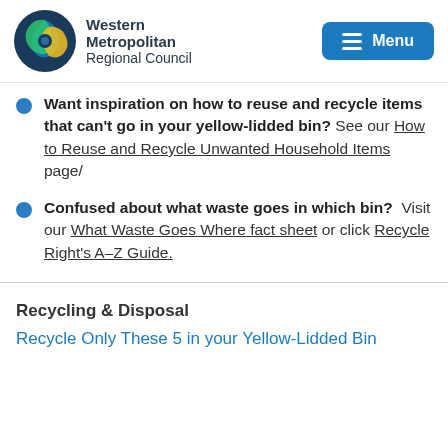Western Metropolitan Regional Council
Want inspiration on how to reuse and recycle items that can't go in your yellow-lidded bin? See our How to Reuse and Recycle Unwanted Household Items page/
Confused about what waste goes in which bin? Visit our What Waste Goes Where fact sheet or click Recycle Right's A–Z Guide.
Recycling & Disposal
Recycle Only These 5 in your Yellow-Lidded Bin